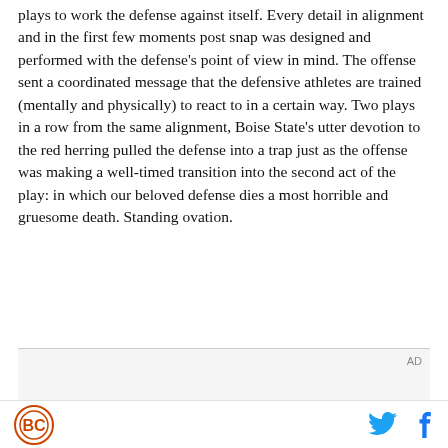plays to work the defense against itself. Every detail in alignment and in the first few moments post snap was designed and performed with the defense's point of view in mind. The offense sent a coordinated message that the defensive athletes are trained (mentally and physically) to react to in a certain way. Two plays in a row from the same alignment, Boise State's utter devotion to the red herring pulled the defense into a trap just as the offense was making a well-timed transition into the second act of the play: in which our beloved defense dies a most horrible and gruesome death. Standing ovation.
[Figure (other): Advertisement placeholder box with AD label in top right corner]
Logo icon on left, Twitter and Facebook share icons on right